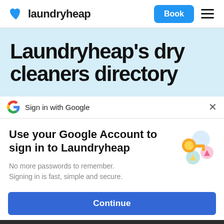laundryheap  Book
Laundryheap's dry cleaners directory
Sign in with Google
Use your Google Account to sign in to Laundryheap
No more passwords to remember. Signing in is fast, simple and secure.
Continue